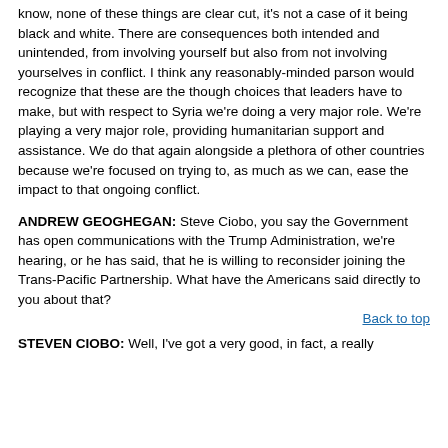know, none of these things are clear cut, it's not a case of it being black and white. There are consequences both intended and unintended, from involving yourself but also from not involving yourselves in conflict. I think any reasonably-minded parson would recognize that these are the though choices that leaders have to make, but with respect to Syria we're doing a very major role. We're playing a very major role, providing humanitarian support and assistance. We do that again alongside a plethora of other countries because we're focused on trying to, as much as we can, ease the impact to that ongoing conflict.
ANDREW GEOGHEGAN: Steve Ciobo, you say the Government has open communications with the Trump Administration, we're hearing, or he has said, that he is willing to reconsider joining the Trans-Pacific Partnership. What have the Americans said directly to you about that?
Back to top
STEVEN CIOBO: Well, I've got a very good, in fact, a really